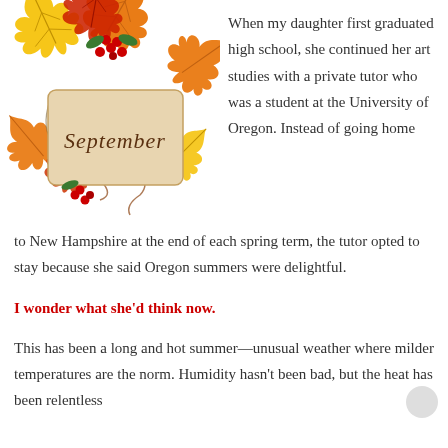[Figure (illustration): Decorative autumn illustration with maple leaves in orange, yellow, and red surrounding a beige card with the word 'September' written in cursive script. Red berries and swirling vines accent the design.]
When my daughter first graduated high school, she continued her art studies with a private tutor who was a student at the University of Oregon. Instead of going home to New Hampshire at the end of each spring term, the tutor opted to stay because she said Oregon summers were delightful.
I wonder what she'd think now.
This has been a long and hot summer—unusual weather where milder temperatures are the norm. Humidity hasn't been bad, but the heat has been relentless